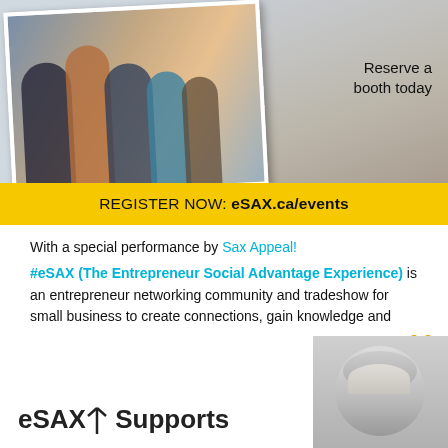[Figure (photo): Banner image showing people networking at a tradeshow event, with a photo overlay and grey background. Yellow bar at bottom reads REGISTER NOW: eSAX.ca/events]
Reserve a booth today
REGISTER NOW: eSAX.ca/events
With a special performance by Sax Appeal!
#eSAX (The Entrepreneur Social Advantage Experience) is an entrepreneur networking community and tradeshow for small business to create connections, gain knowledge and promote regional economic collaboration among regional Chambers of Commerce. Never been to #eSAX? Check out this short video!
[Figure (logo): CHEO Foundation logo with teddy bear icon]
[Figure (photo): Portrait of older man with grey hair]
eSAX Supports